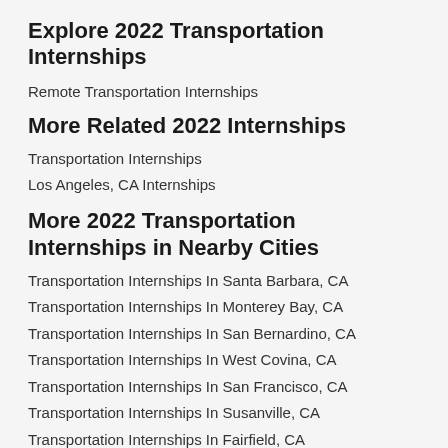Explore 2022 Transportation Internships
Remote Transportation Internships
More Related 2022 Internships
Transportation Internships
Los Angeles, CA Internships
More 2022 Transportation Internships in Nearby Cities
Transportation Internships In Santa Barbara, CA
Transportation Internships In Monterey Bay, CA
Transportation Internships In San Bernardino, CA
Transportation Internships In West Covina, CA
Transportation Internships In San Francisco, CA
Transportation Internships In Susanville, CA
Transportation Internships In Fairfield, CA
Transportation Internships In Irvine, CA
Transportation Internships In Rialto, CA
Transportation Internships In Madera, CA
Transportation Internships In Humboldt, CA
Transportation Internships In Costa Mesa, CA